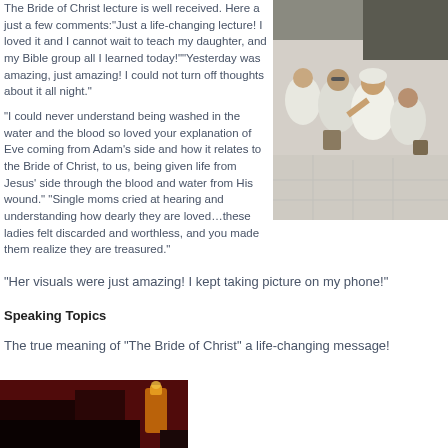The Bride of Christ lecture is well received. Here a just a few comments: "Just a life-changing lecture! I loved it and I cannot wait to teach my daughter, and my Bible group all I learned today!" "Yesterday was amazing, just amazing! I could not turn off thoughts about it all night."
[Figure (photo): Photo of women in white dresses or garments gathered together, appears to be at an outdoor event or ceremony]
"I could never understand being washed in the water and the blood so loved your explanation of Eve coming from Adam's side and how it relates to the Bride of Christ, to us, being given life from Jesus' side through the blood and water from His wound." "Single moms cried at hearing and understanding how dearly they are loved…these ladies felt discarded and worthless, and you made them realize they are treasured."
"Her visuals were just amazing! I kept taking picture on my phone!"
Speaking Topics
The true meaning of “The Bride of Christ” a life-changing message!
[Figure (photo): Partial photo visible at bottom of page showing a dark red/brown scene]